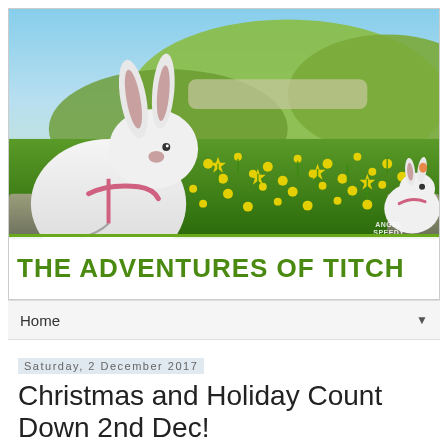[Figure (photo): Blog header banner showing two white rabbits (one large on the left with a pink harness, one smaller on the right) in a field of yellow daffodils with green hills and blue sky. Text overlay reads 'THE ADVENTURES OF TITCH' in bold green letters on a white background bar at the bottom. Small text 'ANGEL SPEEDY' visible in bottom right of photo.]
Home ▼
Saturday, 2 December 2017
Christmas and Holiday Count Down 2nd Dec!